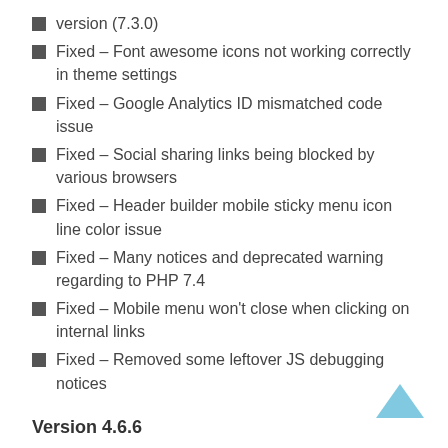version (7.3.0)
Fixed – Font awesome icons not working correctly in theme settings
Fixed – Google Analytics ID mismatched code issue
Fixed – Social sharing links being blocked by various browsers
Fixed – Header builder mobile sticky menu icon line color issue
Fixed – Many notices and deprecated warning regarding to PHP 7.4
Fixed – Mobile menu won't close when clicking on internal links
Fixed – Removed some leftover JS debugging notices
Version 4.6.6
Added – Compatibility with WordPress 5.4 (tested and working good)
Added – Custom accent and heading color
[Figure (illustration): Scroll-to-top chevron arrow icon in cyan/blue color, pointing upward, positioned at bottom right of page]